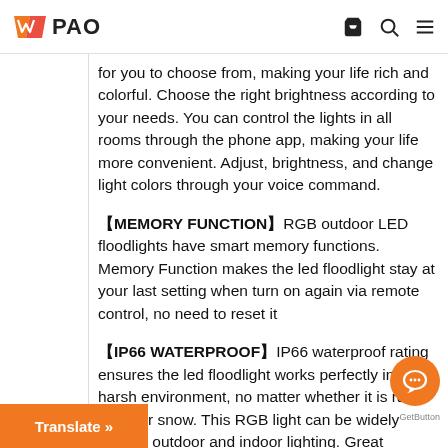TVPAO
for you to choose from, making your life rich and colorful. Choose the right brightness according to your needs. You can control the lights in all rooms through the phone app, making your life more convenient. Adjust, brightness, and change light colors through your voice command.
【MEMORY FUNCTION】RGB outdoor LED floodlights have smart memory functions. Memory Function makes the led floodlight stay at your last setting when turn on again via remote control, no need to reset it
【IP66 WATERPROOF】IP66 waterproof rating ensures the led floodlight works perfectly in any harsh environment, no matter whether it is rain, sleet, or snow. This RGB light can be widely used in outdoor and indoor lighting. Great